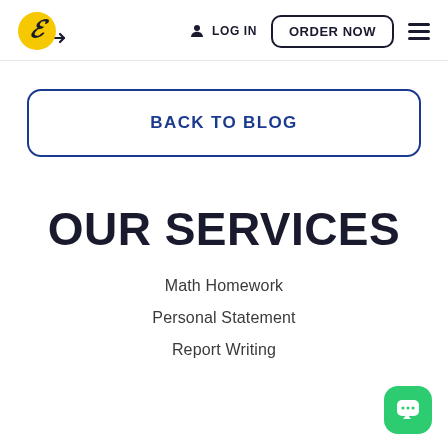[Figure (logo): Stylized E letter logo on yellow circle with navigation bar including LOG IN, ORDER NOW button, and hamburger menu]
BACK TO BLOG
OUR SERVICES
Math Homework
Personal Statement
Report Writing
[Figure (other): Green chat/message bubble icon in bottom right corner]